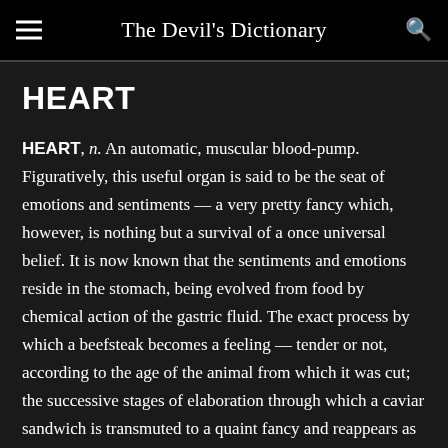The Devil's Dictionary
HEART
HEART, n. An automatic, muscular blood-pump. Figuratively, this useful organ is said to be the seat of emotions and sentiments — a very pretty fancy which, however, is nothing but a survival of a once universal belief. It is now known that the sentiments and emotions reside in the stomach, being evolved from food by chemical action of the gastric fluid. The exact process by which a beefsteak becomes a feeling — tender or not, according to the age of the animal from which it was cut; the successive stages of elaboration through which a caviar sandwich is transmuted to a quaint fancy and reappears as a pungent epigram; the marvelous functional